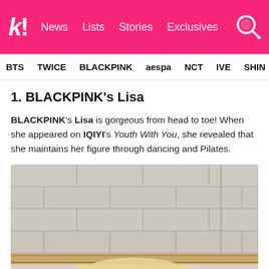k! News Lists Stories Exclusives
BTS TWICE BLACKPINK aespa NCT IVE SHIN
1. BLACKPINK's Lisa
BLACKPINK's Lisa is gorgeous from head to toe! When she appeared on IQIYI's Youth With You, she revealed that she maintains her figure through dancing and Pilates.
[Figure (photo): Photo of Lisa (BLACKPINK) in front of a cinder block wall, with a wooden shelf/bar visible]